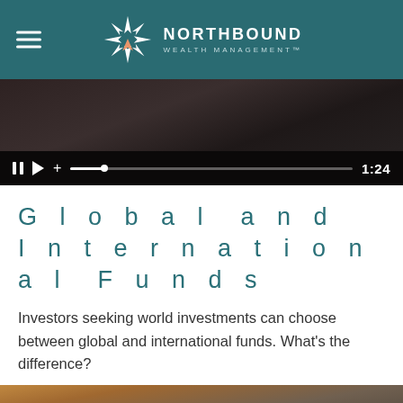NORTHBOUND WEALTH MANAGEMENT
[Figure (screenshot): Video player showing a media clip with playback controls (pause, play, volume, progress bar) and timestamp 1:24 on dark background]
Global and International Funds
Investors seeking world investments can choose between global and international funds. What's the difference?
[Figure (photo): Photo of a tablet displaying a financial presentation or chart, with blurred figures in background]